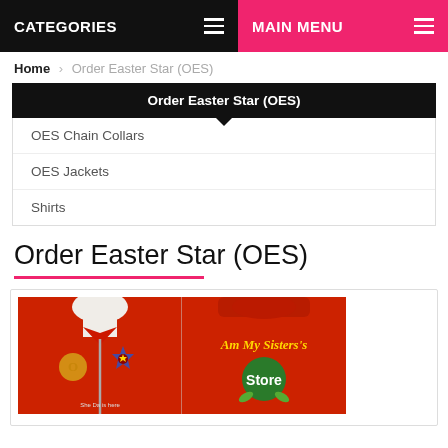CATEGORIES  MAIN MENU
Home > Order Easter Star (OES)
Order Easter Star (OES)
OES Chain Collars
OES Jackets
Shirts
Order Easter Star (OES)
[Figure (photo): Red embroidered OES jacket shown from front and back. Front shows zipper and OES emblem. Back shows 'Am My Sisters's Store' text with colorful logo.]